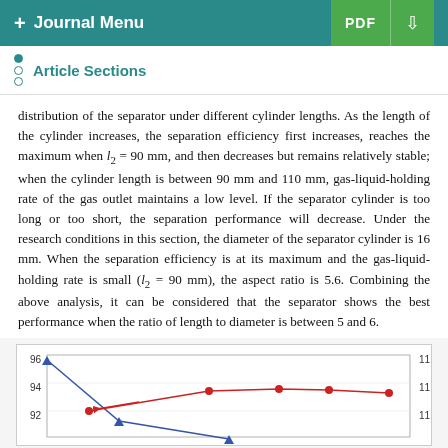+ Journal Menu   PDF ↓
Article Sections
distribution of the separator under different cylinder lengths. As the length of the cylinder increases, the separation efficiency first increases, reaches the maximum when l₂ = 90 mm, and then decreases but remains relatively stable; when the cylinder length is between 90 mm and 110 mm, gas-liquid-holding rate of the gas outlet maintains a low level. If the separator cylinder is too long or too short, the separation performance will decrease. Under the research conditions in this section, the diameter of the separator cylinder is 16 mm. When the separation efficiency is at its maximum and the gas-liquid-holding rate is small (l₂ = 90 mm), the aspect ratio is 5.6. Combining the above analysis, it can be considered that the separator shows the best performance when the ratio of length to diameter is between 5 and 6.
[Figure (line-chart): Line chart showing two y-axes: left axis 92-96, right axis 11.1-11.7. Blue line with triangle markers and red line with circle markers.]